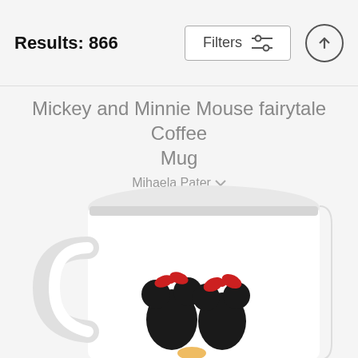Results: 866
Mickey and Minnie Mouse fairytale Coffee Mug
Mihaela Pater
$22  $18
[Figure (photo): A white coffee mug with Mickey and Minnie Mouse fairytale illustration on its side, showing their silhouettes with red bows, partially cropped at the bottom of the page.]